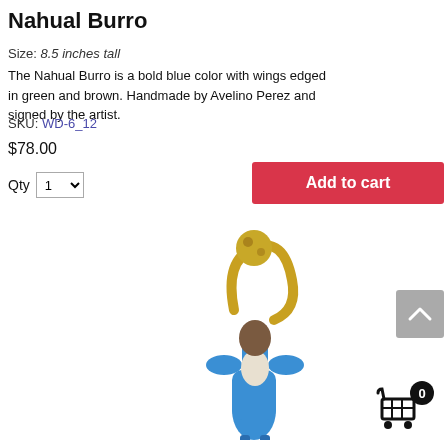Nahual Burro
Size: 8.5 inches tall
The Nahual Burro is a bold blue color with wings edged in green and brown. Handmade by Avelino Perez and signed by the artist.
SKU: WD-6_12
$78.00
Qty 1
Add to cart
[Figure (photo): A blue figurine of a Nahual Burro with gold/brown wings, handmade ceramic sculpture, approximately 8.5 inches tall, shown from the front.]
[Figure (other): Shopping cart icon with badge showing 0 items.]